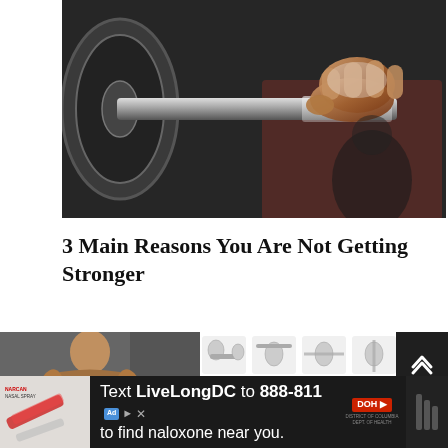[Figure (photo): Close-up photo of hands gripping a heavy barbell with chalk, weight plates visible on the left, gym background]
3 Main Reasons You Are Not Getting Stronger
[Figure (photo): Muscular shirtless male athlete posing in a gym setting, holding weights]
[Figure (illustration): Exercise diagram grid showing workout illustrations: Incline press, Military press, Side-raise, Tricep ext, Kickback (top row); Lunges, Dead lift, Leg Ext, Leg Curl, Calf raise (bottom row)]
[Figure (photo): Advertisement banner: Text LiveLongDC to 888-811 to find naloxone near you. DC Department of Health ad.]